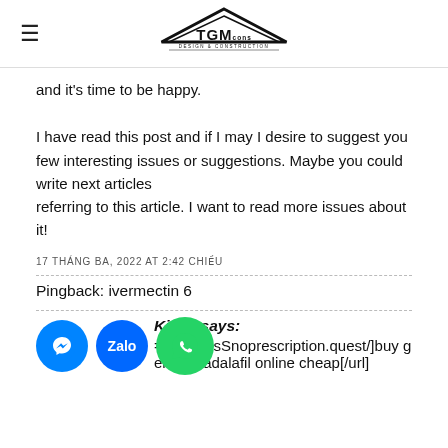TGM CONS DESIGN & CONSTRUCTION
and it's time to be happy.
I have read this post and if I may I desire to suggest you few interesting issues or suggestions. Maybe you could write next articles referring to this article. I want to read more issues about it!
17 THÁNG BA, 2022 AT 2:42 CHIỀU
Pingback: ivermectin 6
Kimle says:
[...ecialisSnoprescription.quest/]buy generic tadalafil online cheap[/url]
[Figure (other): Floating social media icons: Messenger (blue circle), Zalo (blue circle), WhatsApp/Phone (green circle)]